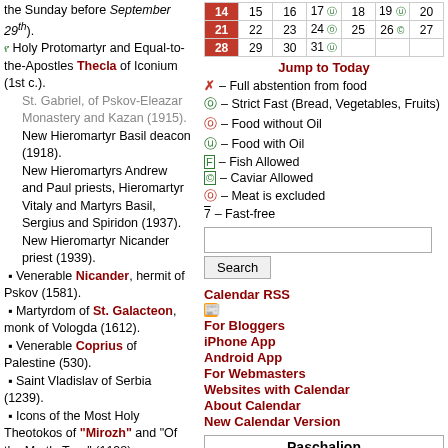the Sunday before September 29th).
Holy Protomartyr and Equal-to-the-Apostles Thecla of Iconium (1st c.).
St. Gabriel, of Pskov-Eleazar Monastery and Kazan (1915).
New Hieromartyr Basil deacon (1918).
New Hieromartyrs Andrew and Paul priests, Hieromartyr Vitaly and Martyrs Basil, Sergius and Spiridon (1937).
New Hieromartyr Nicander priest (1939).
Venerable Nicander, hermit of Pskov (1581).
Martyrdom of St. Galacteon, monk of Vologda (1612).
Venerable Coprius of Palestine (530).
Saint Vladislav of Serbia (1239).
Icons of the Most Holy Theotokos of "Mirozh" and "Of the Myrtle Tree" (1198).
Venerable Abramius, abbot of Mirozh (Pskov).
| 14 | 15 | 16 | 17 | 18 | 19 | 20 |
| --- | --- | --- | --- | --- | --- | --- |
| 21 | 22 | 23 | 24 | 25 | 26 | 27 |
| 28 | 29 | 30 | 31 |  |  |  |
Jump to Today
✗ – Full abstention from food
$ – Strict Fast (Bread, Vegetables, Fruits)
– Food without Oil
– Food with Oil
F – Fish Allowed
C – Caviar Allowed
– Meat is excluded
7 – Fast-free
Search
Calendar RSS
For Bloggers
iPhone App
Android App
For Webmasters
Websites with Calendar
About Calendar
New Calendar Version
Paschalion